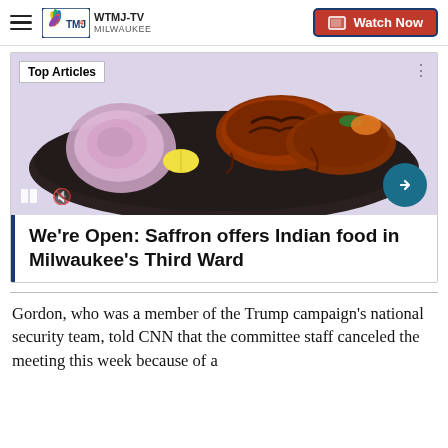WTMJ-TV Milwaukee | Watch Now
[Figure (photo): A dark plate with tandoori-style grilled chicken pieces, sliced red onions, and a lemon wedge on a light purple background. Labeled 'Top Articles'.]
We're Open: Saffron offers Indian food in Milwaukee's Third Ward
Gordon, who was a member of the Trump campaign's national security team, told CNN that the committee staff canceled the meeting this week because of a scheduling issue. He added that their "of the milli..."